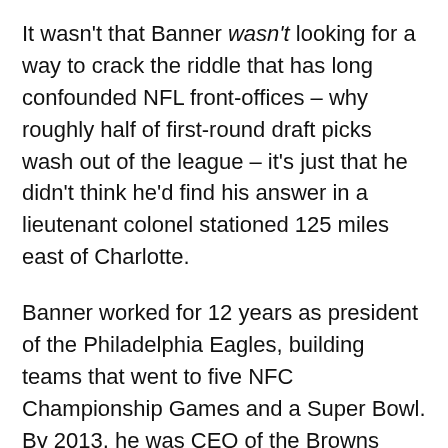It wasn't that Banner wasn't looking for a way to crack the riddle that has long confounded NFL front-offices – why roughly half of first-round draft picks wash out of the league – it's just that he didn't think he'd find his answer in a lieutenant colonel stationed 125 miles east of Charlotte.
Banner worked for 12 years as president of the Philadelphia Eagles, building teams that went to five NFC Championship Games and a Super Bowl. By 2013, he was CEO of the Browns when his GM, Mike Lombardi, returned from a trip to Fort Bragg in Fayetteville, North Carolina, fascinated by a